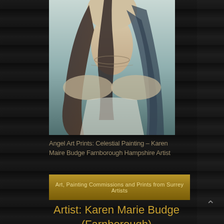[Figure (illustration): Partial view of a celestial or figurative painting showing a female figure from shoulders up, with flowing dark hair and pale skin, against a light blue-green background]
Angel Art Prints: Celestial Painting – Karen Maire Budge Farnborough Hampshire Artist
Art, Painting Commissions and Prints from Surrey Artists
Artist: Karen Marie Budge (Farnborough)